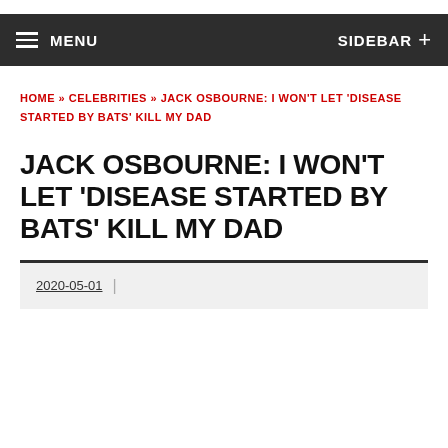MENU  SIDEBAR +
HOME » CELEBRITIES » JACK OSBOURNE: I WON'T LET 'DISEASE STARTED BY BATS' KILL MY DAD
JACK OSBOURNE: I WON'T LET 'DISEASE STARTED BY BATS' KILL MY DAD
2020-05-01